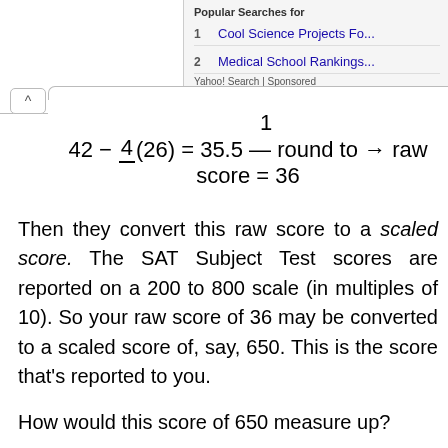[Figure (screenshot): Yahoo Search ad panel showing 'Popular Searches for' with two items: 1) Cool Science Projects Fo... and 2) Medical School Rankings, labeled Yahoo! Search | Sponsored]
Then they convert this raw score to a scaled score. The SAT Subject Test scores are reported on a 200 to 800 scale (in multiples of 10). So your raw score of 36 may be converted to a scaled score of, say, 650. This is the score that's reported to you.
How would this score of 650 measure up?